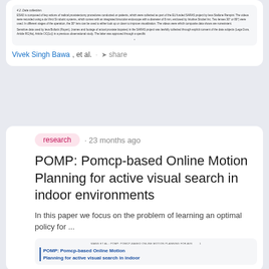[Figure (screenshot): Scanned academic document page showing sections on Data collection and Sensitive data, with dense small text describing video recording procedures and SARAS project data collection methods.]
Vivek Singh Bawa, et al. · share
research · 23 months ago
POMP: Pomcp-based Online Motion Planning for active visual search in indoor environments
In this paper we focus on the problem of learning an optimal policy for ...
[Figure (screenshot): Thumbnail of the paper: POMP: Pomcp-based Online Motion Planning for active visual search in indoor environments, showing the paper header and blue title text.]